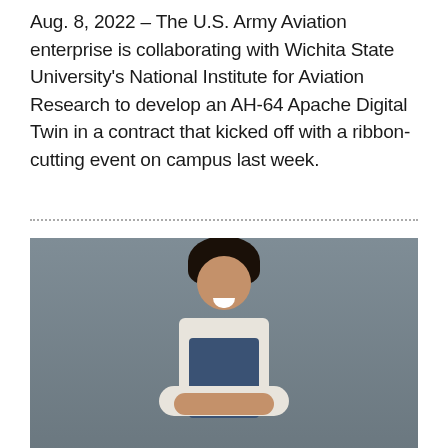Aug. 8, 2022 – The U.S. Army Aviation enterprise is collaborating with Wichita State University's National Institute for Aviation Research to develop an AH-64 Apache Digital Twin in a contract that kicked off with a ribbon-cutting event on campus last week.
[Figure (photo): Photo of a smiling woman with natural curly hair up in a puff, wearing a white polka dot short-sleeve shirt and a denim apron with brown leather straps, arms crossed, against a gray background.]